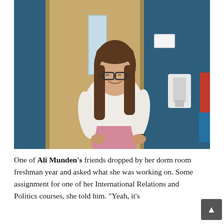[Figure (photo): A young woman with long brown hair and glasses, wearing a white blouse and pink pants, smiling and standing in front of a tan wooden door set in a blue wall. A hand sanitizer dispenser is mounted on the wall to her right.]
One of Ali Munden's friends dropped by her dorm room freshman year and asked what she was working on. Some assignment for one of her International Relations and Politics courses, she told him. "Yeah, it's